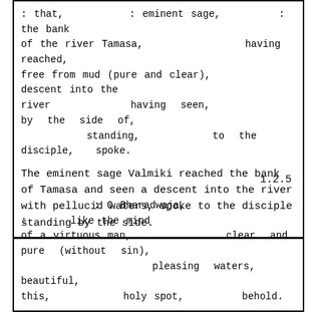: that,        : eminent sage,       :        the bank of the river Tamasa,              having reached,
free from mud (pure and clear),           descent into the river            having seen,           by the side of,
          standing,          to the disciple,   spoke.
The eminent sage Valmiki reached the bank of Tamasa and seen a descent into the river with pellucid waters, spoke to the disciple standing by the side.
1.2.5
: O Bharadwaja,                :      like the mind of a virtuous man,              clear and pure (without sin),
                  pleasing waters,            beautiful,
this,         holy spot,       behold.